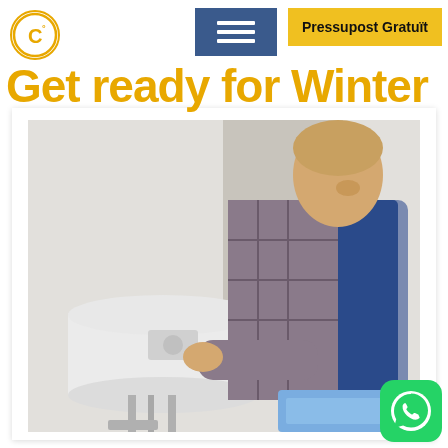[Figure (logo): Circular logo with C and degree symbol in gold on white background]
[Figure (other): Blue hamburger menu button with three white horizontal lines]
[Figure (other): Yellow button with text Pressupost Gratuït]
Get ready for Winter
[Figure (photo): A plumber or technician in a blue overall and plaid shirt leaning over a white wall-mounted water heater boiler, adjusting controls. He is holding what appears to be a clipboard or document.]
[Figure (logo): WhatsApp icon green rounded square button in bottom right corner]